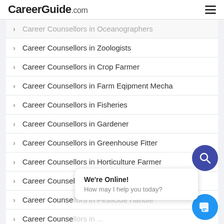CareerGuide.com
Career Counsellors in Oceanographers
Career Counsellors in Zoologists
Career Counsellors in Crop Farmer
Career Counsellors in Farm Eqipment Mecha...
Career Counsellors in Fisheries
Career Counsellors in Gardener
Career Counsellors in Greenhouse Fitter
Career Counsellors in Horticulture Farmer
Career Counsellors in Micro Irrigation Technician
Career Counsellors in Pesticide Handler
Career Counsellors in ...